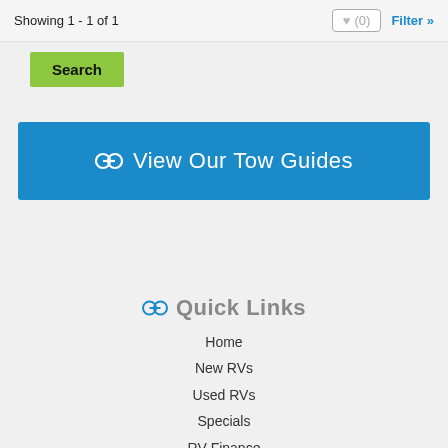Showing 1 - 1 of 1
♥ (0)
Filter »
Search
⛓ View Our Tow Guides
⛓ Quick Links
Home
New RVs
Used RVs
Specials
RV Finance
Service
Directions